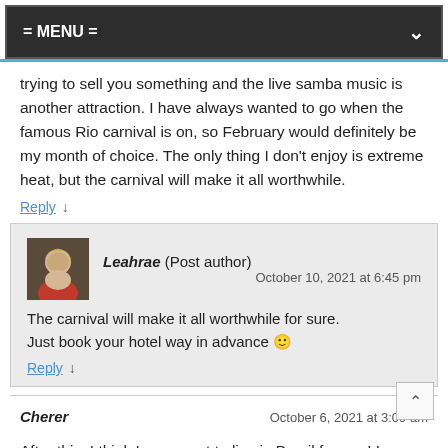= MENU =
trying to sell you something and the live samba music is another attraction. I have always wanted to go when the famous Rio carnival is on, so February would definitely be my month of choice. The only thing I don't enjoy is extreme heat, but the carnival will make it all worthwhile.
Reply ↓
Leahrae (Post author)
October 10, 2021 at 6:45 pm
The carnival will make it all worthwhile for sure. Just book your hotel way in advance 🙂
Reply ↓
Cherer
October 6, 2021 at 3:09 am
After this, I think I may want to live in Brazil forever! I am